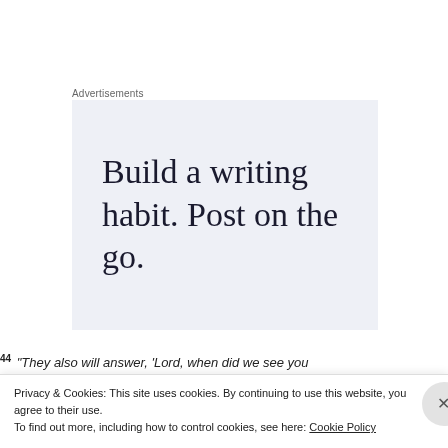Advertisements
[Figure (other): Advertisement box with light blue-grey background reading: Build a writing habit. Post on the go.]
44 "They also will answer, 'Lord, when did we see you
Privacy & Cookies: This site uses cookies. By continuing to use this website, you agree to their use.
To find out more, including how to control cookies, see here: Cookie Policy